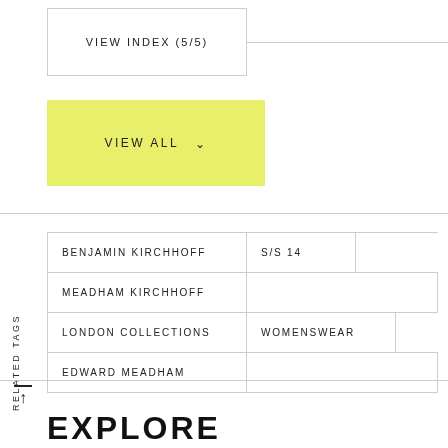VIEW INDEX (5/5)
VIEW ALL
RELATED TAGS
| BENJAMIN KIRCHHOFF | S/S 14 |
| MEADHAM KIRCHHOFF |  |
| LONDON COLLECTIONS | WOMENSWEAR |
| EDWARD MEADHAM |  |
EXPLORE